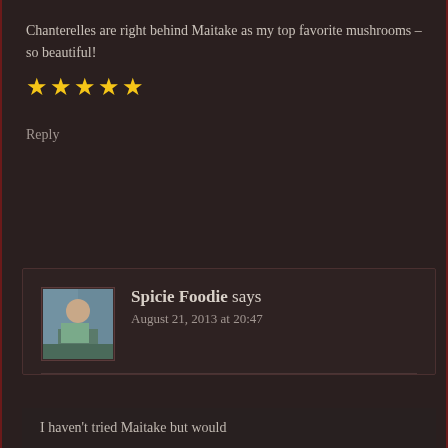Chanterelles are right behind Maitake as my top favorite mushrooms – so beautiful!
★★★★★
Reply
Spicie Foodie says
August 21, 2013 at 20:47
I haven't tried Maitake but would